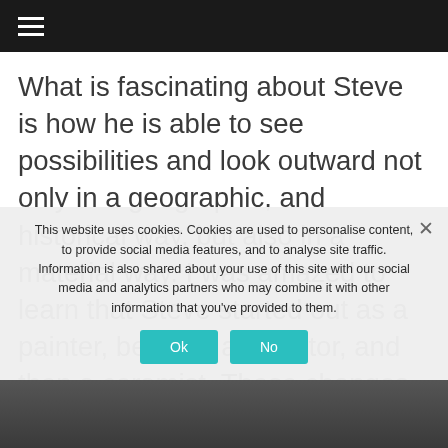≡
What is fascinating about Steve is how he is able to see possibilities and look outward not only in a geographic, and historical way, but also in a material way. I was amazed to learn that Steve started out as a painter, became a sculptor, and then a ceramist. These changes d… knowledge and a maste…
This website uses cookies. Cookies are used to personalise content, to provide social media features, and to analyse site traffic. Information is also shared about your use of this site with our social media and analytics partners who may combine it with other information that you've provided to them.
[Figure (photo): Partial view of a dark background image, partially obscured by cookie consent dialog]